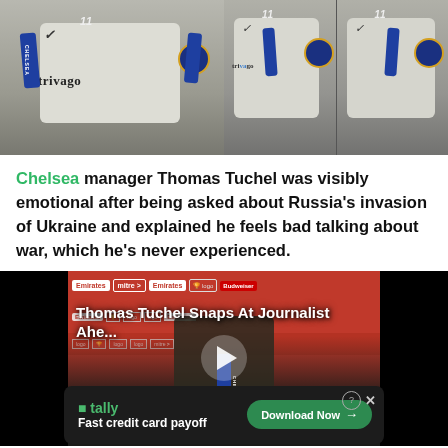[Figure (photo): Thomas Tuchel in Chelsea kit being interviewed with Chelsea-branded microphones]
Chelsea manager Thomas Tuchel was visibly emotional after being asked about Russia's invasion of Ukraine and explained he feels bad talking about war, which he's never experienced.
[Figure (screenshot): Video thumbnail showing Thomas Tuchel at press conference with title 'Thomas Tuchel Snaps At Journalist Ahe...' and a play button, with red Emirates/mitre sponsor backdrop]
[Figure (other): Advertisement for Tally app - 'Fast credit card payoff' with Download Now button]